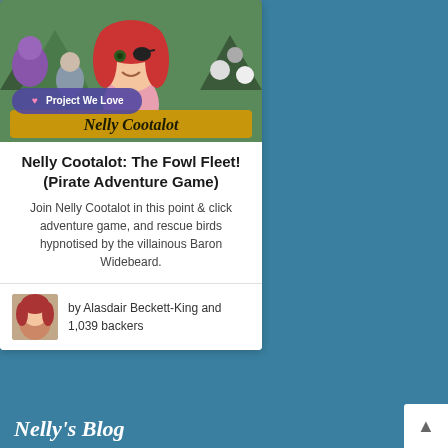[Figure (illustration): Game art for Nelly Cootalot: The Fowl Fleet showing a cartoon red-haired pirate girl with an eyepatch surrounded by various bird and animal characters, with the game logo 'Nelly Cootalot' at the bottom. A 'Project We Love' badge overlays the lower left.]
Nelly Cootalot: The Fowl Fleet! (Pirate Adventure Game)
Join Nelly Cootalot in this point & click adventure game, and rescue birds hypnotised by the villainous Baron Widebeard.
by Alasdair Beckett-King and 1,039 backers
Nelly's Blog